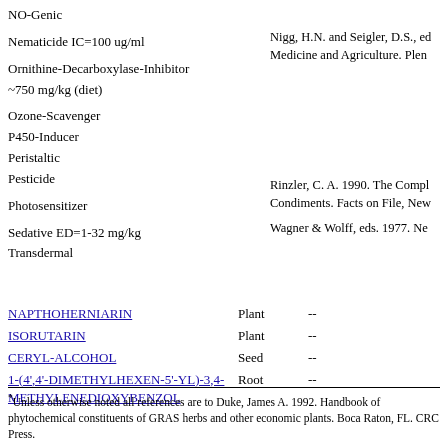NO-Genic
Nematicide IC=100 ug/ml
Ornithine-Decarboxylase-Inhibitor ~750 mg/kg (diet)
Ozone-Scavenger
P450-Inducer
Peristaltic
Pesticide
Photosensitizer
Sedative ED=1-32 mg/kg
Transdermal
Nigg, H.N. and Seigler, D.S., ed Medicine and Agriculture. Plen
Rinzler, C. A. 1990. The Compl Condiments. Facts on File, New
Wagner & Wolff, eds. 1977. Ne
NAPTHOHERNIARIN  Plant  --
ISORUTARIN  Plant  --
CERYL-ALCOHOL  Seed  --
1-(4',4'-DIMETHYLHEXEN-5'-YL)-3,4-METHYLENEDIOXYBENZOL  Root  --
*Unless otherwise noted all references are to Duke, James A. 1992. Handbook of phytochemical constituents of GRAS herbs and other economic plants. Boca Raton, FL. CRC Press.